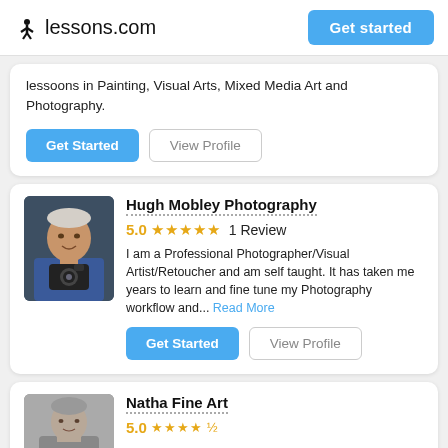lessons.com  Get started
lessoons in Painting, Visual Arts, Mixed Media Art and Photography.
Get Started  View Profile
Hugh Mobley Photography
5.0 ★★★★★ 1 Review
I am a Professional Photographer/Visual Artist/Retoucher and am self taught. It has taken me years to learn and fine tune my Photography workflow and... Read More
Get Started  View Profile
Natha Fine Art